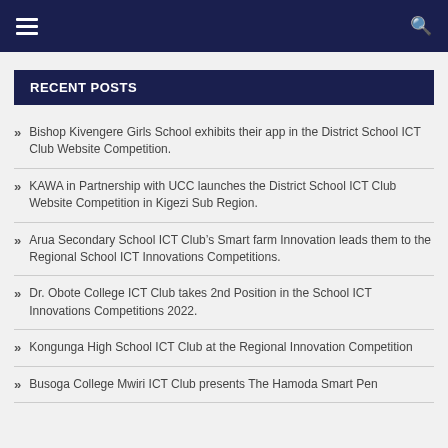Navigation bar with hamburger menu and search icon
RECENT POSTS
Bishop Kivengere Girls School exhibits their app in the District School ICT Club Website Competition.
KAWA in Partnership with UCC launches the District School ICT Club Website Competition in Kigezi Sub Region.
Arua Secondary School ICT Club’s Smart farm Innovation leads them to the Regional School ICT Innovations Competitions.
Dr. Obote College ICT Club takes 2nd Position in the School ICT Innovations Competitions 2022.
Kongunga High School ICT Club at the Regional Innovation Competition
Busoga College Mwiri ICT Club presents The Hamoda Smart Pen